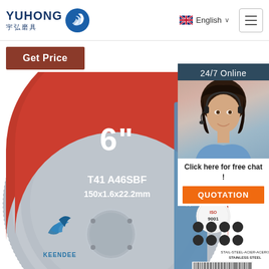[Figure (logo): Yuhong 宇弘磨具 brand logo with blue wave/dolphin icon]
English ∨
Get Price
24/7 Online
[Figure (photo): Customer service agent woman with headset, smiling]
Click here for free chat !
QUOTATION
[Figure (photo): 6 inch cutting disc product image - T41 A46SBF 150x1.6x22.2mm, R.P.M 10200, KEENDEE brand, ISO 9001 certified, red and grey disc for stainless steel]